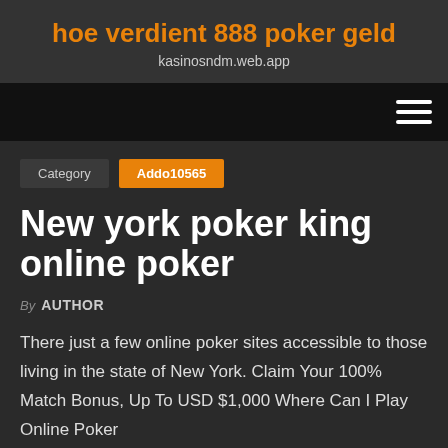hoe verdient 888 poker geld
kasinosndm.web.app
[Figure (other): Navigation bar with hamburger menu icon (three horizontal lines) on the right side, black background]
Category   Addo10565
New york poker king online poker
By AUTHOR
There just a few online poker sites accessible to those living in the state of New York. Claim Your 100% Match Bonus, Up To USD $1,000 Where Can I Play Online Poker